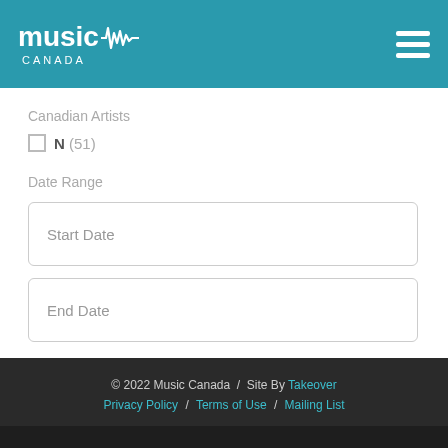[Figure (logo): Music Canada logo with waveform graphic and hamburger menu icon on teal header]
Canadian Artists
N (51)
Date Range
Start Date
End Date
© 2022 Music Canada / Site By Takeover
Privacy Policy / Terms of Use / Mailing List